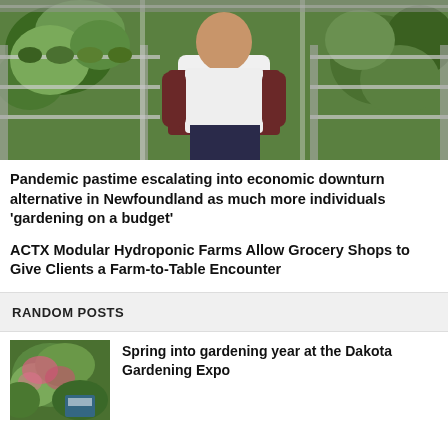[Figure (photo): Woman standing in a greenhouse surrounded by hydroponic lettuce and plants on shelving systems]
Pandemic pastime escalating into economic downturn alternative in Newfoundland as much more individuals 'gardening on a budget'
ACTX Modular Hydroponic Farms Allow Grocery Shops to Give Clients a Farm-to-Table Encounter
RANDOM POSTS
[Figure (photo): Green and pink flowering plant, possibly hydrangea, with a seed packet nearby]
Spring into gardening year at the Dakota Gardening Expo